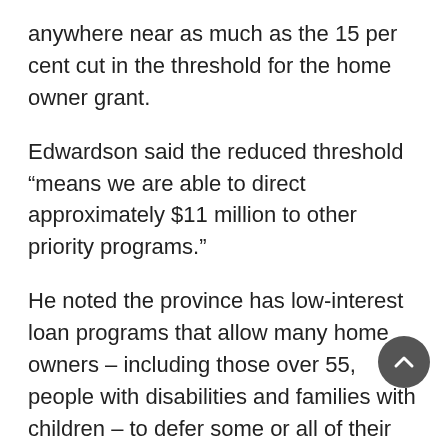anywhere near as much as the 15 per cent cut in the threshold for the home owner grant.
Edwardson said the reduced threshold “means we are able to direct approximately $11 million to other priority programs.”
He noted the province has low-interest loan programs that allow many home owners – including those over 55, people with disabilities and families with children – to defer some or all of their property taxes until they sell their home or it becomes part of an estate.
The home owner grant is worth $570 and is reduced by $5 for every $1,000 in assessed value over the threshold, meaning there’s no grant on homes worth more than $1.214 million.